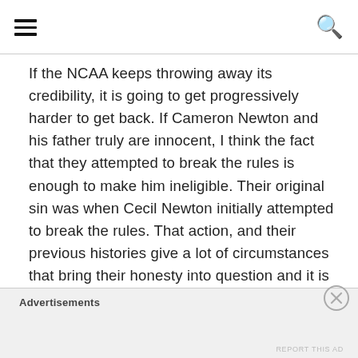[hamburger menu] [search icon]
If the NCAA keeps throwing away its credibility, it is going to get progressively harder to get back. If Cameron Newton and his father truly are innocent, I think the fact that they attempted to break the rules is enough to make him ineligible. Their original sin was when Cecil Newton initially attempted to break the rules. That action, and their previous histories give a lot of circumstances that bring their honesty into question and it is because of all of the controversy which they have brought upon themselves, that people should not have cast Heisman votes for Newton and why he should not be playing for a
Advertisements